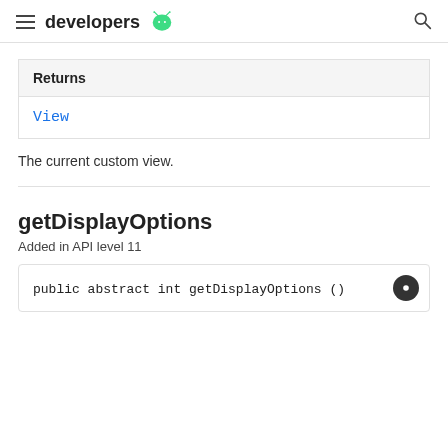developers
| Returns |
| --- |
| View |
The current custom view.
getDisplayOptions
Added in API level 11
public abstract int getDisplayOptions ()